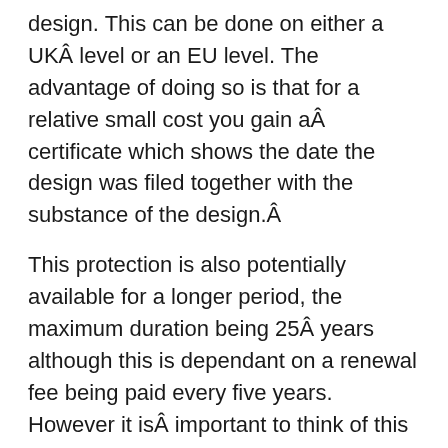design. This can be done on either a UKÂ level or an EU level. The advantage of doing so is that for a relative small cost you gain aÂ certificate which shows the date the design was filed together with the substance of the design.Â
This protection is also potentially available for a longer period, the maximum duration being 25Â years although this is dependant on a renewal fee being paid every five years. However it isÂ important to think of this upfront as the application for registration must be made within 12Â months of the design being made available to the public. Therefore it is not possible to rely onÂ the automatic forms and then try to change to the registered system once the time limit on theseÂ expires.
One of the downsides that affect both of the above forms of automatic protection in fact lies inÂ the fact that they are automatic. This is because the lack of